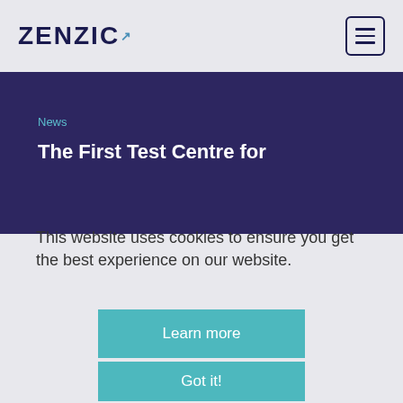ZENZIC
News
The First Test Centre for
This website uses cookies to ensure you get the best experience on our website.
Learn more
Got it!